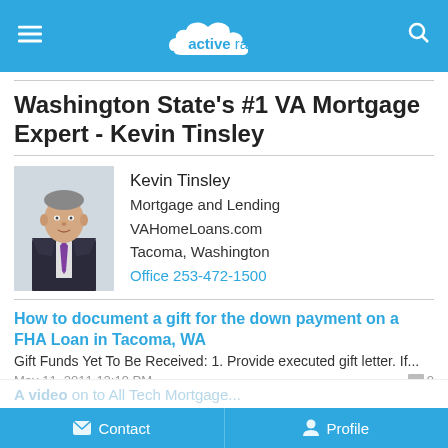active rain
Washington State's #1 VA Mortgage Expert - Kevin Tinsley
[Figure (photo): Profile photo of Kevin Tinsley, a man in a dark suit and patterned tie]
Kevin Tinsley
Mortgage and Lending
VAHomeLoans.com
Tacoma, Washington
Office 253-472-1500
How to document a gift for the down payment on a FHA Loan in Tacoma, WA
Gift Funds Yet To Be Received: 1. Provide executed gift letter. If...
May 11, 2011 12:19 PM
Can I buy a home in Tacoma using FHA financing in just my name, not my spouse?
A credit report is required on a non-purchasing spouse residing in ...
May 05, 2011 07:12 AM
Contact   Profile